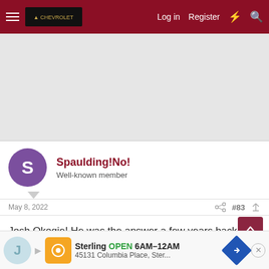Log in  Register
[Figure (screenshot): Gray advertisement placeholder area]
Spaulding!No!
Well-known member
May 8, 2022  #83
Josh Okogie! He was the answer a few years back.
[Figure (infographic): Bottom advertisement banner: Sterling OPEN 6AM–12AM, 45131 Columbia Place, Ster...]